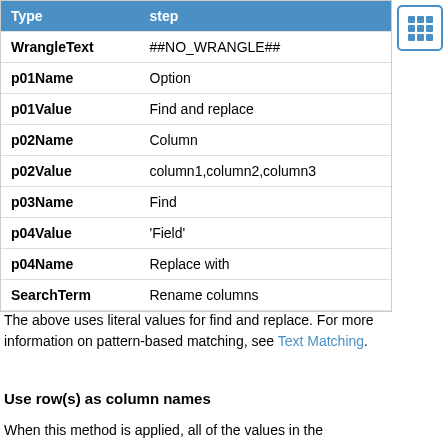| Type | step |
| --- | --- |
| WrangleText | ##NO_WRANGLE## |
| p01Name | Option |
| p01Value | Find and replace |
| p02Name | Column |
| p02Value | column1,column2,column3 |
| p03Name | Find |
| p04Value | 'Field' |
| p04Name | Replace with |
| SearchTerm | Rename columns |
The above uses literal values for find and replace. For more information on pattern-based matching, see Text Matching.
Use row(s) as column names
When this method is applied, all of the values in the